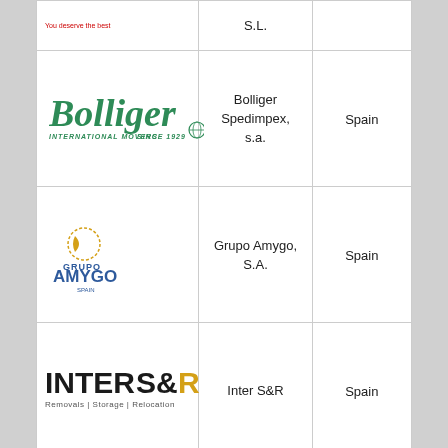| Logo | Company Name | Country |
| --- | --- | --- |
| [logo: partial top] | S.L. |  |
| [Bolliger logo] | Bolliger Spedimpex, s.a. | Spain |
| [Grupo Amygo logo] | Grupo Amygo, S.A. | Spain |
| [Inter S&R logo] | Inter S&R | Spain |
| [partial bottom row] |  |  |